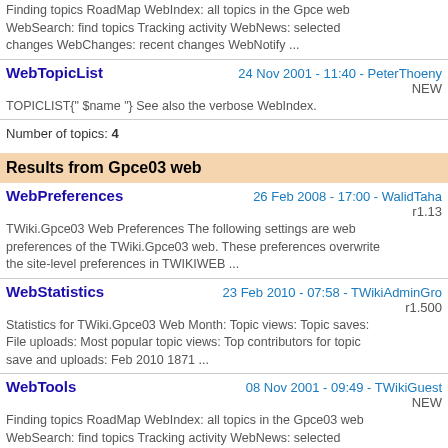Finding topics RoadMap WebIndex: all topics in the Gpce web WebSearch: find topics Tracking activity WebNews: selected changes WebChanges: recent changes WebNotify ...
WebTopicList   24 Nov 2001 - 11:40 - PeterThoeny
NEW
TOPICLIST{" $name "} See also the verbose WebIndex.
Number of topics: 4
Results from Gpce03 web
WebPreferences   26 Feb 2008 - 17:00 - WalidTaha
r1.13
TWiki.Gpce03 Web Preferences The following settings are web preferences of the TWiki.Gpce03 web. These preferences overwrite the site-level preferences in TWIKIWEB ...
WebStatistics   23 Feb 2010 - 07:58 - TWikiAdminGro
r1.500
Statistics for TWiki.Gpce03 Web Month: Topic views: Topic saves: File uploads: Most popular topic views: Top contributors for topic save and uploads: Feb 2010 1871 ...
WebTools   08 Nov 2001 - 09:49 - TWikiGuest
NEW
Finding topics RoadMap WebIndex: all topics in the Gpce03 web WebSearch: find topics Tracking activity WebNews: selected changes WebChanges: recent changes WebNotify ...
WebTopicList   24 Nov 2001 - 11:40 - PeterThoeny
NEW
TOPICLIST{" $name "} See also the verbose WebIndex.